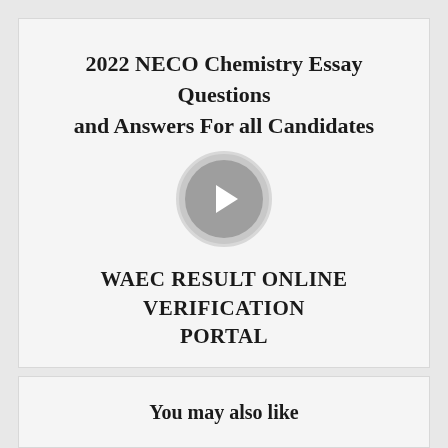2022 NECO Chemistry Essay Questions and Answers For all Candidates
[Figure (other): A circular play button with a right-pointing chevron (greater-than symbol) on a gray background]
WAEC RESULT ONLINE VERIFICATION PORTAL
You may also like